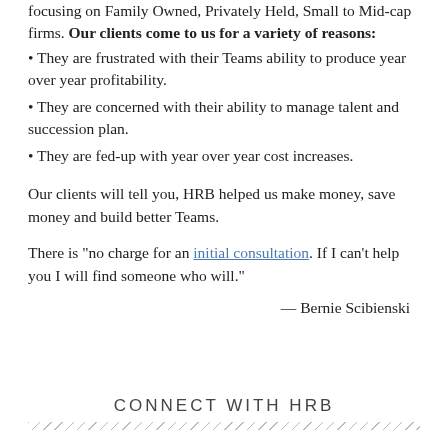focusing on Family Owned, Privately Held, Small to Mid-cap firms. Our clients come to us for a variety of reasons:
• They are frustrated with their Teams ability to produce year over year profitability.
• They are concerned with their ability to manage talent and succession plan.
• They are fed-up with year over year cost increases.
Our clients will tell you, HRB helped us make money, save money and build better Teams.
There is "no charge for an initial consultation. If I can't help you I will find someone who will."
— Bernie Scibienski
CONNECT WITH HRB